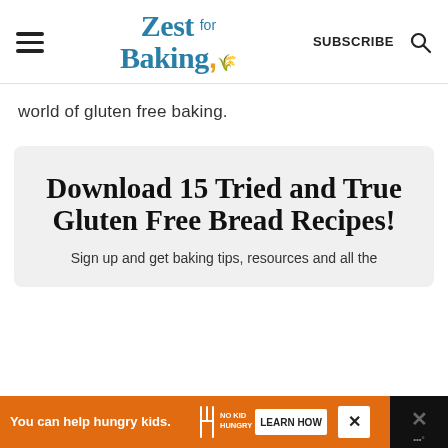Zest for Baking — SUBSCRIBE
world of gluten free baking.
Download 15 Tried and True Gluten Free Bread Recipes!
Sign up and get baking tips, resources and all the
[Figure (infographic): Orange advertisement bar: 'You can help hungry kids.' with No Kid Hungry logo and LEARN HOW button. Close button visible.]